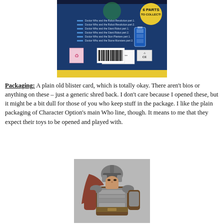[Figure (photo): Back of a Doctor Who blister card packaging showing CD listings and barcode, on a dark blue background with '6 Parts to Collect' badge]
Packaging: A plain old blister card, which is totally okay. There aren't bios or anything on these – just a generic shred back. I don't care because I opened these, but it might be a bit dull for those of you who keep stuff in the package. I like the plain packaging of Character Option's main Who line, though. It means to me that they expect their toys to be opened and played with.
[Figure (photo): Action figure of a Roman soldier/centurion in brown and silver armor with a helmet]